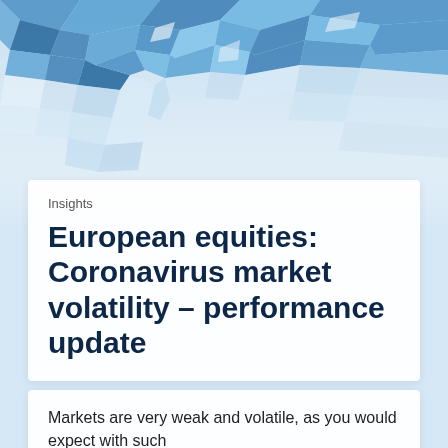[Figure (illustration): Low-poly geometric blue world map illustration used as a decorative hero banner image]
Insights
European equities: Coronavirus market volatility – performance update
Markets are very weak and volatile, as you would expect with such